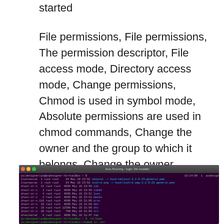started
File permissions, File permissions, The permission descriptor, File access mode, Directory access mode, Change permissions, Chmod is used in symbol mode, Absolute permissions are used in chmod commands, Change the owner and the group to which it belongs, Change the owner relationship, Change the group relationship, SUID and SGID file permissions, File permissions, File ownership is an important part of UNIX and provides a secure way to store files., Each file in UNIX has the following propertie
[Figure (screenshot): Terminal window showing a Linux file listing with file permissions, ownership, size, and date information displayed in a dark purple terminal on Ubuntu]